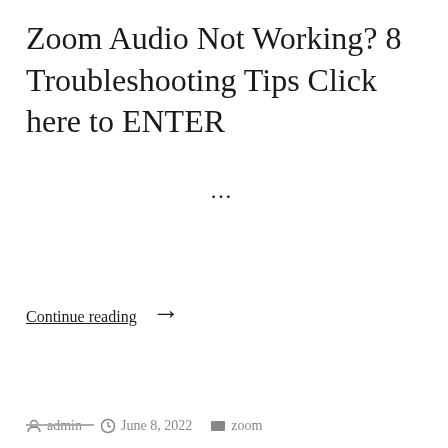Zoom Audio Not Working? 8 Troubleshooting Tips Click here to ENTER
…
Continue reading →
admin   June 8, 2022   zoom